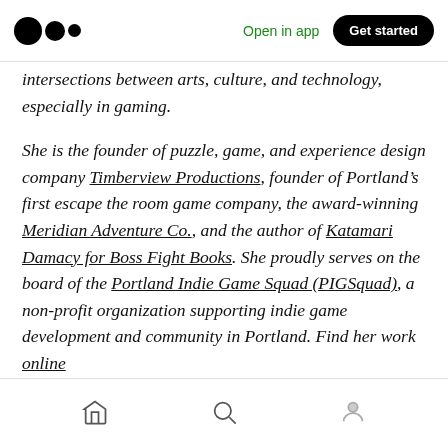Open in app | Get started
intersections between arts, culture, and technology, especially in gaming.
She is the founder of puzzle, game, and experience design company Timberview Productions, founder of Portland’s first escape the room game company, the award-winning Meridian Adventure Co., and the author of Katamari Damacy for Boss Fight Books. She proudly serves on the board of the Portland Indie Game Squad (PIGSquad), a non-profit organization supporting indie game development and community in Portland. Find her work online and on Twitter
Home | Search | Profile